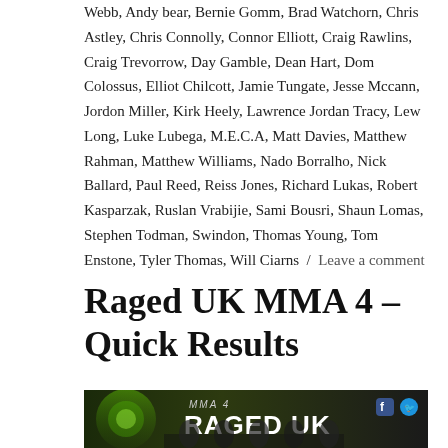Webb, Andy bear, Bernie Gomm, Brad Watchorn, Chris Astley, Chris Connolly, Connor Elliott, Craig Rawlins, Craig Trevorrow, Day Gamble, Dean Hart, Dom Colossus, Elliot Chilcott, Jamie Tungate, Jesse Mccann, Jordon Miller, Kirk Heely, Lawrence Jordan Tracy, Lew Long, Luke Lubega, M.E.C.A, Matt Davies, Matthew Rahman, Matthew Williams, Nado Borralho, Nick Ballard, Paul Reed, Reiss Jones, Richard Lukas, Robert Kasparzak, Ruslan Vrabijie, Sami Bousri, Shaun Lomas, Stephen Todman, Swindon, Thomas Young, Tom Enstone, Tyler Thomas, Will Ciarns / Leave a comment
Raged UK MMA 4 – Quick Results
[Figure (photo): Promotional banner image for Raged UK MMA 4 event showing fighters with logo and social media icons]